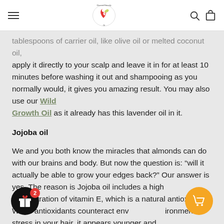Ghamned Naturally Oil — navigation header with logo, menu, search, and cart icons
tablespoons of carrier oil, like olive oil or melted coconut oil, apply it directly to your scalp and leave it in for at least 10 minutes before washing it out and shampooing as you normally would, it gives you amazing result. You may also use our Wild Growth Oil as it already has this lavender oil in it.
Jojoba oil
We and you both know the miracles that almonds can do with our brains and body. But now the question is: “will it actually be able to grow your edges back?” Our answer is yes. The reason is Jojoba oil includes a high concentration of vitamin E, which is a natural antioxidant. When antioxidants counteract environmental stress in your hair, it appears younger and